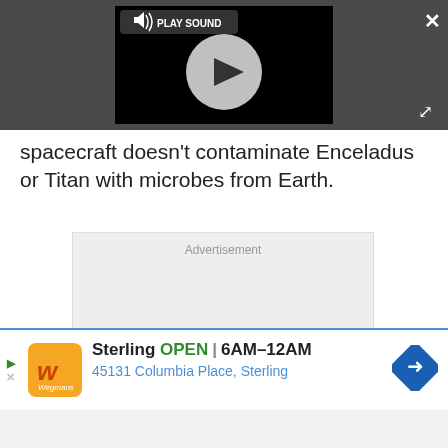[Figure (screenshot): Video player with play button circle, PLAY SOUND badge, close X button and expand arrows on dark gray bar]
spacecraft doesn't contaminate Enceladus or Titan with microbes from Earth.
[Figure (screenshot): Advertisement placeholder box with light gray background]
[Figure (screenshot): Bottom ad banner: Sterling OPEN 6AM-12AM, 45131 Columbia Place, Sterling with Wegmans logo and navigation diamond icon]